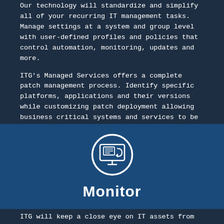Our technology will standardize and simplify all of your recurring IT management tasks. Manage settings at a system and group level with user-defined profiles and policies that control automation, monitoring, updates and more.
ITG's Managed Services offers a complete patch management process. Identify specific platforms, applications and their versions while customizing patch deployment allowing business critical systems and services to be patched independently.
[Figure (illustration): White icon of a monitor/screen with document inside, enclosed in a white circle, on blue background]
Monitor
ITG will keep a close eye on IT assets from end to end...